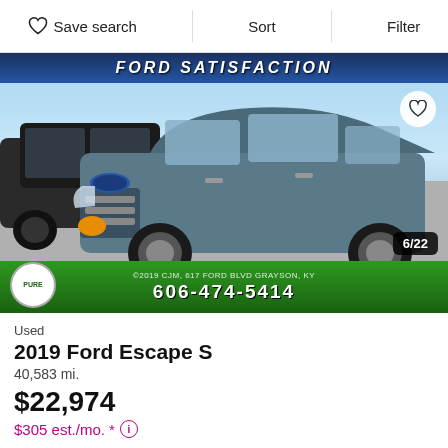Save search   Sort   Filter
[Figure (photo): Photo of a 2019 Ford Escape S in gray/blue color parked at a dealership lot with another dark SUV behind it. Dealership banner at top reads 'FORD SATISFACTION'. Green strip at bottom shows dealership phone number 606-474-5414. Photo count badge shows 6/22.]
Used
2019 Ford Escape S
40,583 mi.
$22,974
$305 est./mo. *